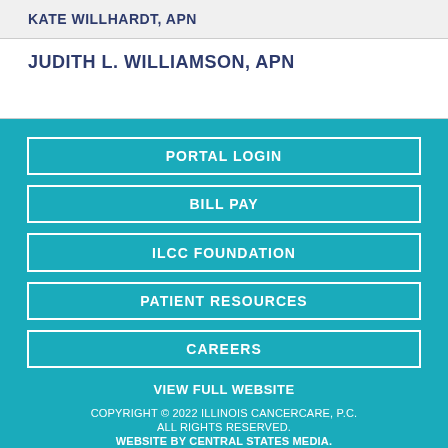KATE WILLHARDT, APN
JUDITH L. WILLIAMSON, APN
PORTAL LOGIN
BILL PAY
ILCC FOUNDATION
PATIENT RESOURCES
CAREERS
VIEW FULL WEBSITE
COPYRIGHT © 2022 ILLINOIS CANCERCARE, P.C. ALL RIGHTS RESERVED. WEBSITE BY CENTRAL STATES MEDIA.